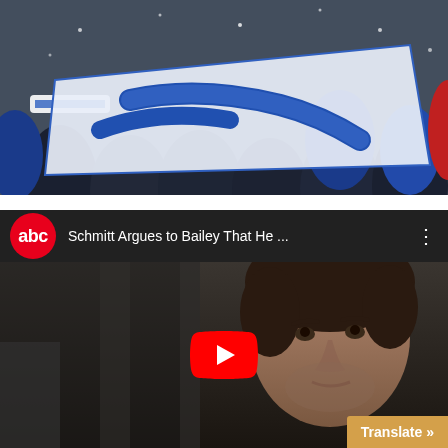[Figure (photo): Crowd of sports fans in winter clothing holding a large blue and white flag/banner with a soccer-related logo or emblem. Snowy conditions visible.]
[Figure (screenshot): YouTube video embed showing ABC News channel. Title reads 'Schmitt Argues to Bailey That He ...' with three-dot menu icon. Thumbnail shows a young man with curly brown hair in a dark setting. Red YouTube play button in center. Orange 'Translate »' button in bottom-right corner.]